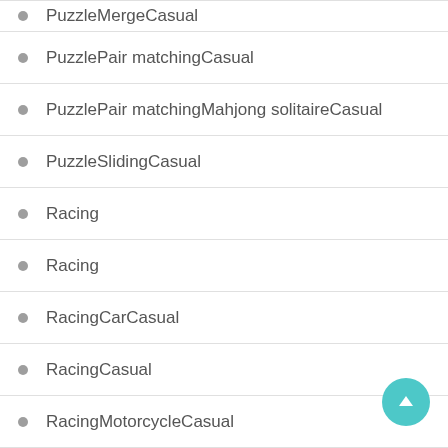PuzzleMergeCasual
PuzzlePair matchingCasual
PuzzlePair matchingMahjong solitaireCasual
PuzzleSlidingCasual
Racing
Racing
RacingCarCasual
RacingCasual
RacingMotorcycleCasual
RacingStunt drivingArcade